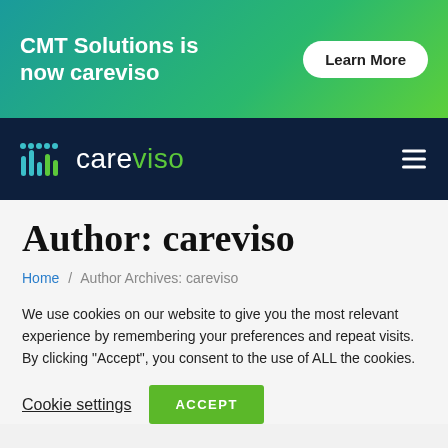[Figure (infographic): Green-to-teal gradient banner with white bold text 'CMT Solutions is now careviso' and a white pill-shaped 'Learn More' button]
[Figure (logo): Careviso logo on dark navy background with animated bar-chart icon in teal and green, text 'careviso' with 'viso' in green, and hamburger menu icon on right]
Author: careviso
Home / Author Archives: careviso
We use cookies on our website to give you the most relevant experience by remembering your preferences and repeat visits. By clicking “Accept”, you consent to the use of ALL the cookies.
Cookie settings   ACCEPT